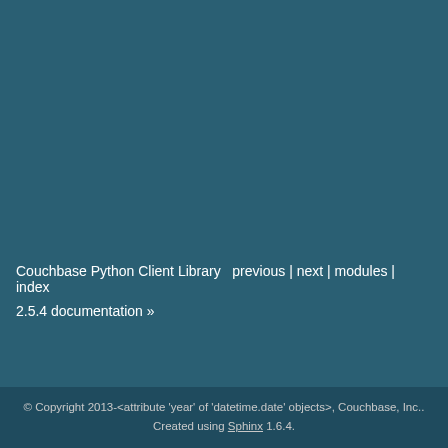h... on...
ig... – su... ex... du...
a... a... qu...
kv... a... qu...
Couchbase Python Client Library  previous | next | modules | index  2.5.4 documentation »
© Copyright 2013-<attribute 'year' of 'datetime.date' objects>, Couchbase, Inc.. Created using Sphinx 1.6.4.